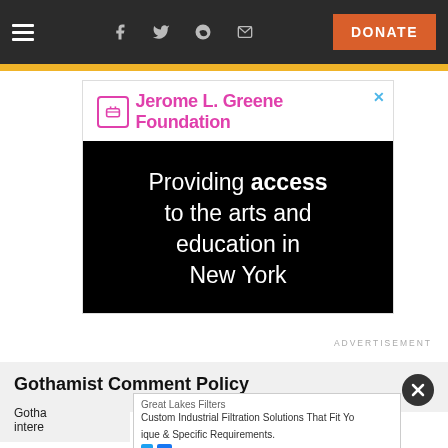Navigation bar with hamburger menu, social icons (Facebook, Twitter, Reddit, Email), and DONATE button
[Figure (screenshot): Jerome L. Greene Foundation advertisement banner. Top white section shows logo and name in pink. Bottom black section reads: 'Providing access to the arts and education in New York']
ADVERTISEMENT
Gothamist Comment Policy
Gotha... intere...
Great Lakes Filters — Custom Industrial Filtration Solutions That Fit Yo... ique & Specific Requirements.